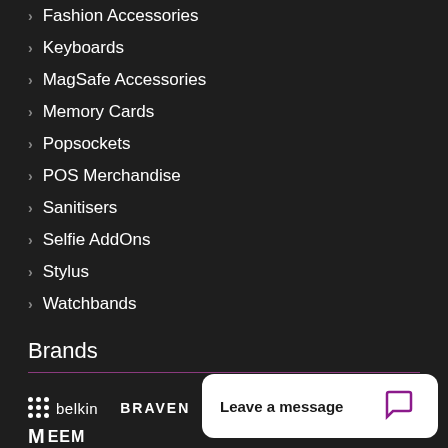Fashion Accessories
Keyboards
MagSafe Accessories
Memory Cards
Popsockets
POS Merchandise
Sanitisers
Selfie AddOns
Stylus
Watchbands
Brands
[Figure (logo): Brand logos: Belkin, BRAVEN, CASE MATE, Cleanskin displayed in a horizontal row on dark background]
[Figure (screenshot): Chat popup widget with text 'Leave a message' and chat icon in purple]